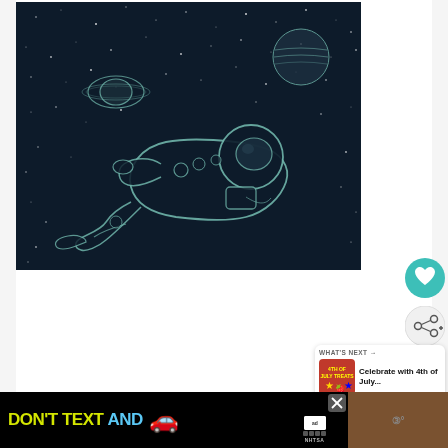[Figure (illustration): Dark space illustration showing an astronaut floating/drifting in space in a relaxed pose (lying horizontally), wearing a space suit drawn in teal/mint outline style. Two planets are visible: Saturn with rings on the left and a Jupiter-like planet upper right. Background is dark navy with white star dots scattered throughout.]
[Figure (infographic): Heart (like/favorite) button - teal circular button with white heart icon]
[Figure (infographic): Share button - light circular button with share/add icon]
[Figure (infographic): WHAT'S NEXT panel showing thumbnail and text 'Celebrate with 4th of July...' with Wideo logo]
[Figure (screenshot): Advertisement banner: DON'T TEXT AND [car emoji] with NHTSA and ad badge branding on black background, close button in corner]